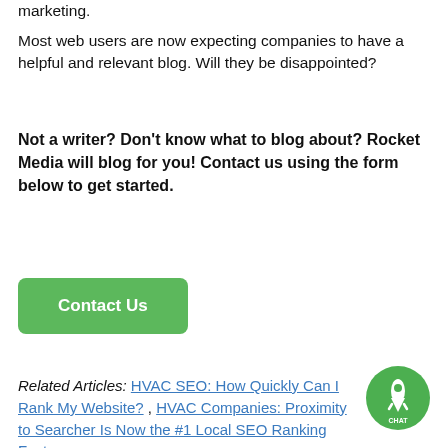marketing.
Most web users are now expecting companies to have a helpful and relevant blog. Will they be disappointed?
Not a writer? Don't know what to blog about? Rocket Media will blog for you! Contact us using the form below to get started.
[Figure (other): Green 'Contact Us' button]
Related Articles: HVAC SEO: How Quickly Can I Rank My Website? , HVAC Companies: Proximity to Searcher Is Now the #1 Local SEO Ranking Factor
[Figure (other): Chat bubble icon with rocket logo in bottom right corner]